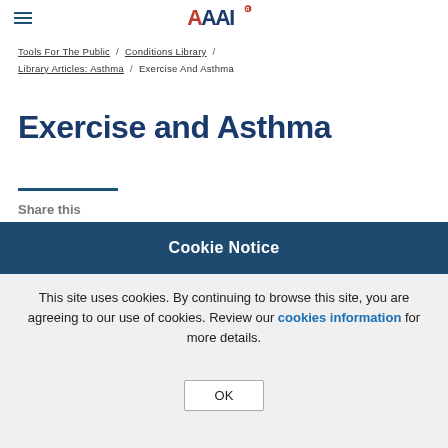AAAI logo with hamburger menu
Tools For The Public / Conditions Library / Library Articles: Asthma / Exercise And Asthma
Exercise and Asthma
Share this
Cookie Notice
This site uses cookies. By continuing to browse this site, you are agreeing to our use of cookies. Review our cookies information for more details.
OK